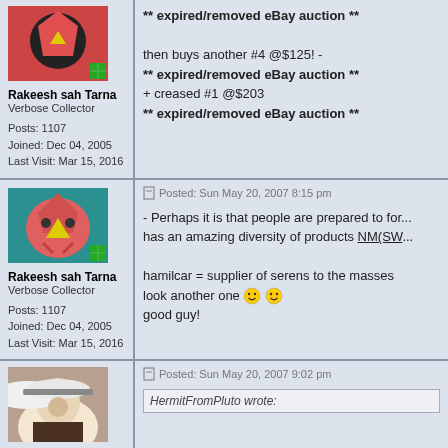** expired/removed eBay auction **
then buys another #4 @$125! -
** expired/removed eBay auction **
+ creased #1 @$203
** expired/removed eBay auction **
Rakeesh sah Tarna
Verbose Collector
Posts: 1107
Joined: Dec 04, 2005
Last Visit: Mar 15, 2016
Posted: Sun May 20, 2007 8:15 pm
- Perhaps it is that people are prepared to for... has an amazing diversity of products NM(SW...
hamilcar = supplier of serens to the masses
look another one
good guy!
Rakeesh sah Tarna
Verbose Collector
Posts: 1107
Joined: Dec 04, 2005
Last Visit: Mar 15, 2016
Posted: Sun May 20, 2007 9:02 pm
HermitFromPluto wrote: